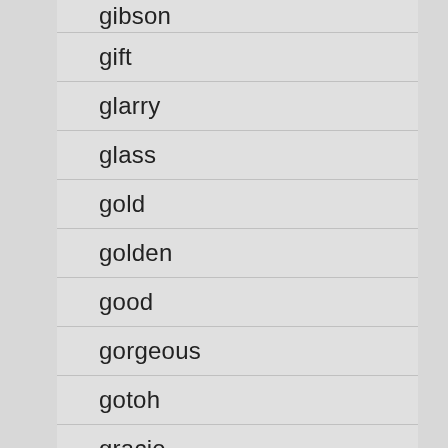gibson
gift
glarry
glass
gold
golden
good
gorgeous
gotoh
gracie
grail
grand